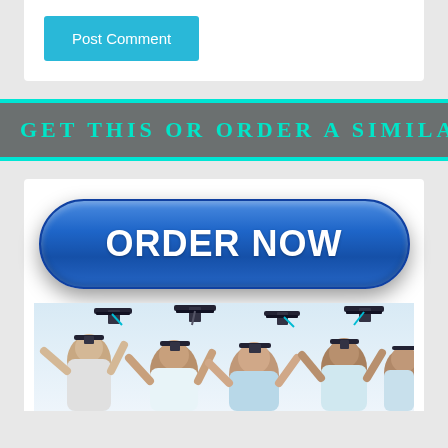[Figure (screenshot): Post Comment button — teal/cyan rectangular button with white text]
GET THIS OR ORDER A SIMILAR PA
[Figure (screenshot): ORDER NOW glossy blue pill-shaped button with white bold text, above a graduation photo of students in caps and gowns tossing mortarboards]